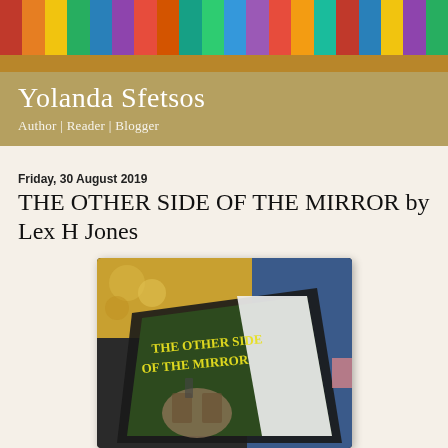[Figure (photo): Bookshelf header image with colorful book spines on a wooden shelf]
Yolanda Sfetsos
Author | Reader | Blogger
Friday, 30 August 2019
THE OTHER SIDE OF THE MIRROR by Lex H Jones
[Figure (photo): Photo of a tablet/e-reader displaying the book cover of 'The Other Side of the Mirror', placed on a surface with books in the background]